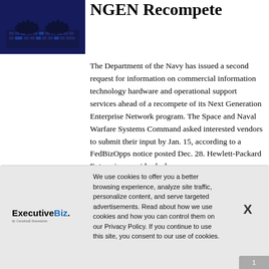[Figure (photo): Person's hands typing on a keyboard with blue/purple lighting in a dark setting]
NGEN Recompete
The Department of the Navy has issued a second request for information on commercial information technology hardware and operational support services ahead of a recompete of its Next Generation Enterprise Network program. The Space and Naval Warfare Systems Command asked interested vendors to submit their input by Jan. 15, according to a FedBizOpps notice posted Dec. 28. Hewlett-Packard Enterprise provides [...]
[Figure (screenshot): Cookie consent overlay banner with ExecutiveBiz logo on the left, cookie policy text in the center, and an X close button on the right]